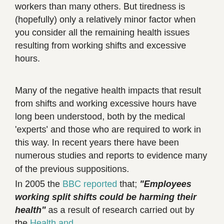workers than many others. But tiredness is (hopefully) only a relatively minor factor when you consider all the remaining health issues resulting from working shifts and excessive hours.
Many of the negative health impacts that result from shifts and working excessive hours have long been understood, both by the medical 'experts' and those who are required to work in this way. In recent years there have been numerous studies and reports to evidence many of the previous suppositions.
In 2005 the BBC reported that; "Employees working split shifts could be harming their health" as a result of research carried out by the Health and